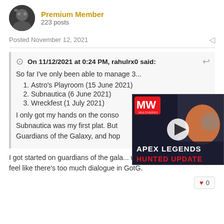Premium Member
223 posts
Posted November 12, 2021
On 11/12/2021 at 0:24 PM, rahulrx0 said:
So far I've only been able to manage 3...
1. Astro's Playroom (15 June 2021)
2. Subnautica (6 June 2021)
3. Wreckfest (1 July 2021)
I only got my hands on the conso... Subnautica was my first plat. But ... Guardians of the Galaxy, and hop...
[Figure (screenshot): APEX LEGENDS HUNTED UPDATE advertisement overlay with MW logo and play button, partially overlapping the quoted text]
I got started on guardians of the gala... with the gta remasters. I feel like there's too much dialogue in GotG.
♥ 0